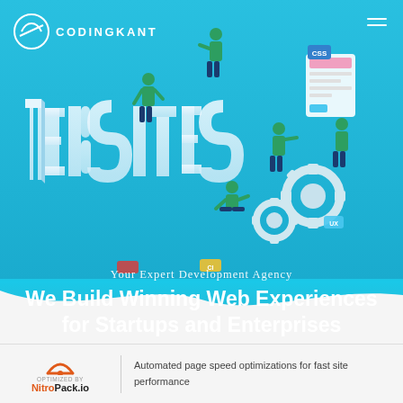[Figure (illustration): Isometric illustration of web development scene with 3D 'WEBSITES' text, developers working on UI/UX, CSS, gear icons, mobile and desktop screen mockups on a blue gradient background]
CODINGKANT
Your Expert Development Agency
We Build Winning Web Experiences for Startups and Enterprises
OPTIMIZED BY NitroPack.io | Automated page speed optimizations for fast site performance